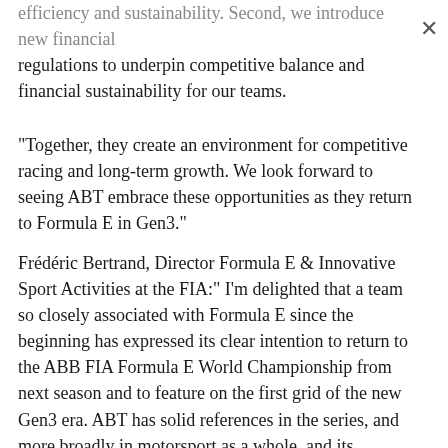efficiency and sustainability. Second, we introduce new financial regulations to underpin competitive balance and financial sustainability for our teams.
"Together, they create an environment for competitive racing and long-term growth. We look forward to seeing ABT embrace these opportunities as they return to Formula E in Gen3."
Frédéric Bertrand, Director Formula E & Innovative Sport Activities at the FIA:" I'm delighted that a team so closely associated with Formula E since the beginning has expressed its clear intention to return to the ABB FIA Formula E World Championship from next season and to feature on the first grid of the new Gen3 era. ABT has solid references in the series, and more broadly in motorsport as a whole, and its commitment